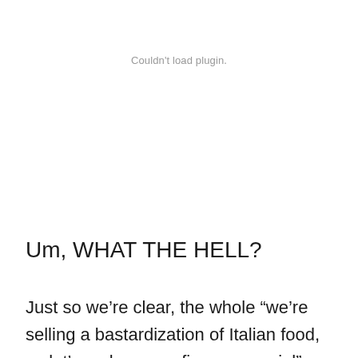Couldn't load plugin.
Um, WHAT THE HELL?
Just so we’re clear, the whole “we’re selling a bastardization of Italian food, so let’s make an mafia-commercial” thing is kind of tired. Besides